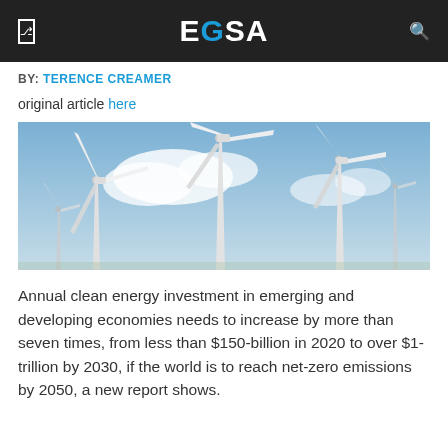EGSA
BY: TERENCE CREAMER
original article here
[Figure (photo): Three large wind turbines against a partly cloudy blue sky]
Annual clean energy investment in emerging and developing economies needs to increase by more than seven times, from less than $150-billion in 2020 to over $1-trillion by 2030, if the world is to reach net-zero emissions by 2050, a new report shows.